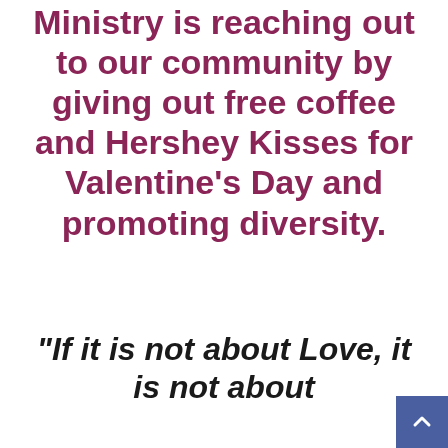Ministry is reaching out to our community by giving out free coffee and Hershey Kisses for Valentine's Day and promoting diversity.
“If it is not about Love, it is not about